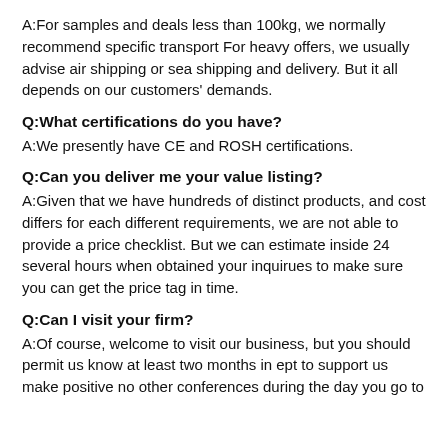A:For samples and deals less than 100kg, we normally recommend specific transport For heavy offers, we usually advise air shipping or sea shipping and delivery. But it all depends on our customers' demands.
Q:What certifications do you have?
A:We presently have CE and ROSH certifications.
Q:Can you deliver me your value listing?
A:Given that we have hundreds of distinct products, and cost differs for each different requirements, we are not able to provide a price checklist. But we can estimate inside 24 several hours when obtained your inquirues to make sure you can get the price tag in time.
Q:Can I visit your firm?
A:Of course, welcome to visit our business, but you should permit us know at least two months in ept to support us make positive no other conferences during the day you go to